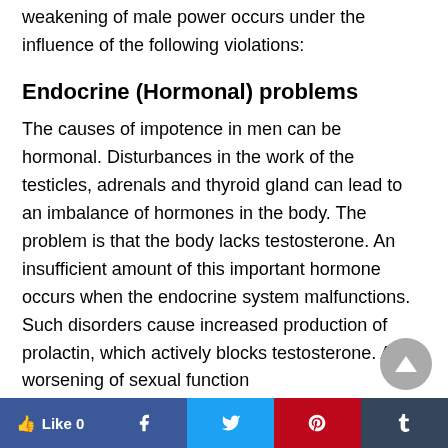weakening of male power occurs under the influence of the following violations:
Endocrine (Hormonal) problems
The causes of impotence in men can be hormonal. Disturbances in the work of the testicles, adrenals and thyroid gland can lead to an imbalance of hormones in the body. The problem is that the body lacks testosterone. An insufficient amount of this important hormone occurs when the endocrine system malfunctions. Such disorders cause increased production of prolactin, which actively blocks testosterone. A worsening of sexual function
Like 0 | Facebook | Twitter | Pinterest | Tumblr